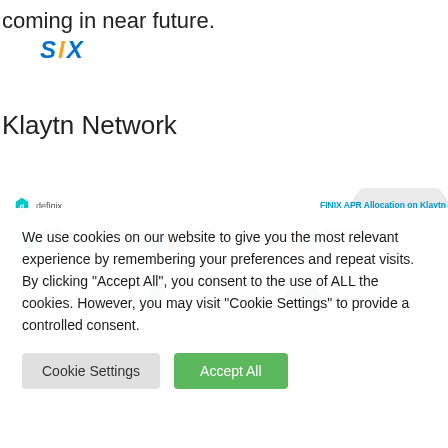coming in near future.
[Figure (logo): SIX logo in blue italic bold text]
Klaytn Network
[Figure (screenshot): Definix DeFi platform screenshot showing FINIX APR Allocation on Klaytn with token pair cards: FINIX (3.74% / 5.14%), SIX-KLAY (9.99% / 9.65%), KBTC-KUSDT (2.49% / 1.64%), and a second row of additional token pairs]
We use cookies on our website to give you the most relevant experience by remembering your preferences and repeat visits. By clicking “Accept All”, you consent to the use of ALL the cookies. However, you may visit “Cookie Settings” to provide a controlled consent.